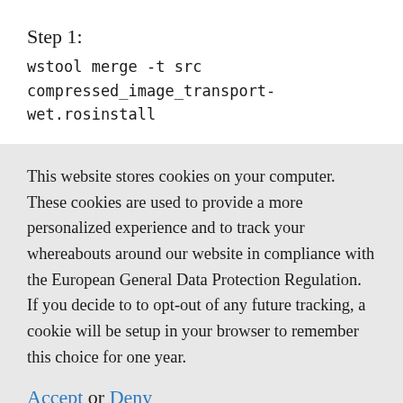Step 1:
wstool merge -t src compressed_image_transport-wet.rosinstall
This website stores cookies on your computer. These cookies are used to provide a more personalized experience and to track your whereabouts around our website in compliance with the European General Data Protection Regulation. If you decide to to opt-out of any future tracking, a cookie will be setup in your browser to remember this choice for one year.
Accept or Deny